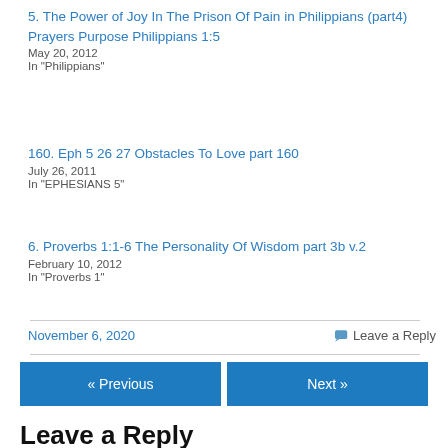5. The Power of Joy In The Prison Of Pain in Philippians (part4)
Prayers Purpose Philippians 1:5
May 20, 2012
In "Philippians"
160. Eph 5 26 27 Obstacles To Love part 160
July 26, 2011
In "EPHESIANS 5"
6. Proverbs 1:1-6 The Personality Of Wisdom part 3b v.2
February 10, 2012
In "Proverbs 1"
November 6, 2020    Leave a Reply
« Previous    Next »
Leave a Reply